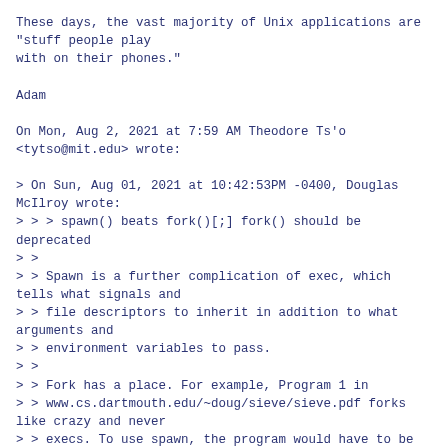These days, the vast majority of Unix applications are
"stuff people play
with on their phones."

Adam

On Mon, Aug 2, 2021 at 7:59 AM Theodore Ts'o
<tytso@mit.edu> wrote:

> On Sun, Aug 01, 2021 at 10:42:53PM -0400, Douglas
McIlroy wrote:
> > > spawn() beats fork()[;] fork() should be
deprecated
> >
> > Spawn is a further complication of exec, which
tells what signals and
> > file descriptors to inherit in addition to what
arguments and
> > environment variables to pass.
> >
> > Fork has a place. For example, Program 1 in
> > www.cs.dartmouth.edu/~doug/sieve/sieve.pdf forks
like crazy and never
> > execs. To use spawn, the program would have to be
split in three (or
> > be passed a switch setting).
> >
> > While you may dismiss Program 1 as merely a neat
demo, the same idea